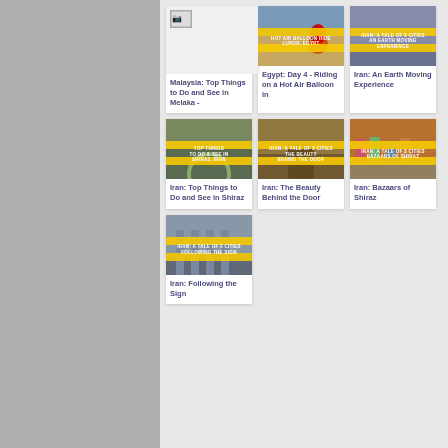[Figure (screenshot): Grid of travel blog post thumbnail cards with titles. Row 1: Malaysia Top Things to Do and See in Melaka (broken image), Egypt Day 4 Riding on a Hot Air Balloon in Luxor, Iran An Earth Moving Experience. Row 2: Iran Top Things to Do and See in Shiraz, Iran The Beauty Behind the Door, Iran Bazaars of Shiraz. Row 3: Iran Following the Sign.]
Malaysia: Top Things to Do and See in Melaka -
Egypt: Day 4 - Riding on a Hot Air Balloon in
Iran: An Earth Moving Experience
Iran: Top Things to Do and See in Shiraz
Iran: The Beauty Behind the Door
Iran: Bazaars of Shiraz
Iran: Following the Sign